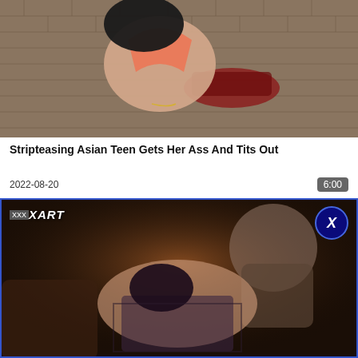[Figure (screenshot): Animated/3D render thumbnail showing a figure on a motorbike on a brick surface, viewed from above]
Stripteasing Asian Teen Gets Her Ass And Tits Out
2022-08-20
6:00
[Figure (screenshot): 3D animated render showing two characters in an interior scene with warm lighting, watermark 'XXXART' top left and logo circle top right]